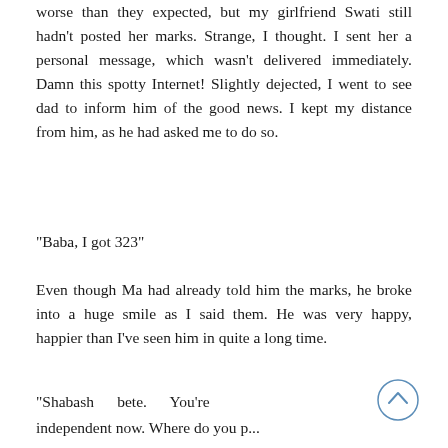worse than they expected, but my girlfriend Swati still hadn't posted her marks. Strange, I thought. I sent her a personal message, which wasn't delivered immediately. Damn this spotty Internet! Slightly dejected, I went to see dad to inform him of the good news. I kept my distance from him, as he had asked me to do so.
"Baba, I got 323"
Even though Ma had already told him the marks, he broke into a huge smile as I said them. He was very happy, happier than I've seen him in quite a long time.
"Shabash bete. You're independent now. Where do you p...